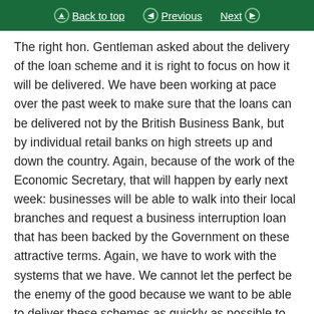Back to top  Previous  Next
The right hon. Gentleman asked about the delivery of the loan scheme and it is right to focus on how it will be delivered. We have been working at pace over the past week to make sure that the loans can be delivered not by the British Business Bank, but by individual retail banks on high streets up and down the country. Again, because of the work of the Economic Secretary, that will happen by early next week: businesses will be able to walk into their local branches and request a business interruption loan that has been backed by the Government on these attractive terms. Again, we have to work with the systems that we have. We cannot let the perfect be the enemy of the good because we want to be able to deliver these schemes as quickly as possible to businesses up and down the country.